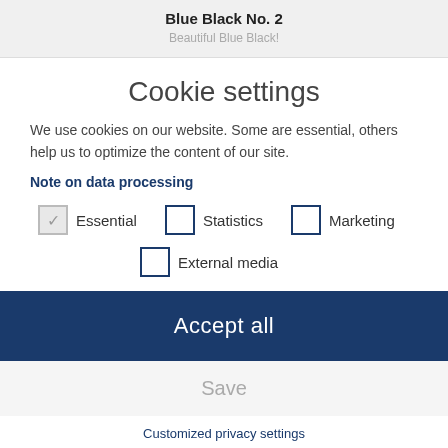Blue Black No. 2
Beautiful Blue Black!
Cookie settings
We use cookies on our website. Some are essential, others help us to optimize the content of our site.
Note on data processing
Essential (checked)
Statistics (unchecked)
Marketing (unchecked)
External media (unchecked)
Accept all
Save
Customized privacy settings